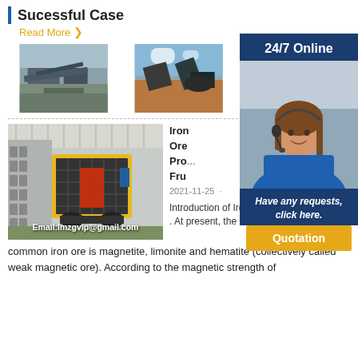Sucessful Case
Read More ›
[Figure (photo): Industrial quarry/mining processing plant facility, outdoor]
[Figure (photo): Mining equipment and conveyor belt at outdoor site]
[Figure (photo): Third mining site photo (partially obscured by sidebar)]
[Figure (photo): Large industrial impact crusher machine inside a factory/plant with email overlay: Email:lmzgvip@gmail.com]
[Figure (photo): 24/7 Online customer service representative with headset; sidebar with 'Have any requests, click here.' and Quotation button]
Iron Ore Processing Plant . Fru
2021-11-25
Introduction of Iron Ore Processing Plant . At present, the common iron ore is magnetite, limonite and hematite (collectively called weak magnetic ore). According to the magnetic strength of